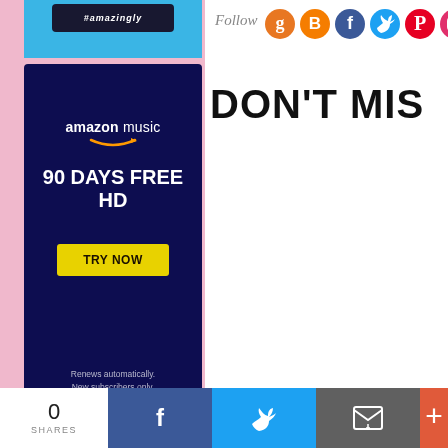[Figure (screenshot): Top portion of a dark blue Amazon Music advertisement banner cropped at top]
[Figure (infographic): Amazon Music advertisement: '90 DAYS FREE HD' with 'TRY NOW' yellow button and fine print 'Renews automatically. New subscribers only.' on dark navy background]
Follow
[Figure (infographic): Social media follow icons: Goodreads (orange G), Blogger (orange B), Facebook (blue f), Twitter (blue bird), Pinterest (red P), Instagram (pink camera)]
DON'T MIS
0
SHARES
[Figure (infographic): Bottom share bar with Facebook, Twitter, email, and plus icons on colored backgrounds]